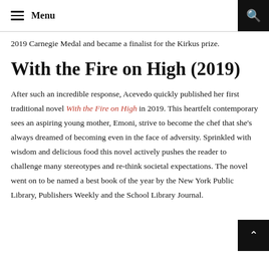Menu
2019 Carnegie Medal and became a finalist for the Kirkus prize.
With the Fire on High (2019)
After such an incredible response, Acevedo quickly published her first traditional novel With the Fire on High in 2019. This heartfelt contemporary sees an aspiring young mother, Emoni, strive to become the chef that she’s always dreamed of becoming even in the face of adversity. Sprinkled with wisdom and delicious food this novel actively pushes the reader to challenge many stereotypes and re-think societal expectations. The novel went on to be named a best book of the year by the New York Public Library, Publishers Weekly and the School Library Journal.